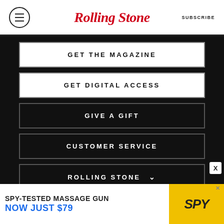Rolling Stone | SUBSCRIBE
GET THE MAGAZINE
GET DIGITAL ACCESS
GIVE A GIFT
CUSTOMER SERVICE
ROLLING STONE
[Figure (infographic): Advertisement banner: SPY-TESTED MASSAGE GUN NOW JUST $79 with SPY logo on yellow background]